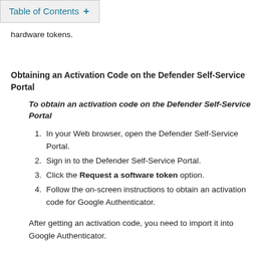Table of Contents +
hardware tokens.
Obtaining an Activation Code on the Defender Self-Service Portal
To obtain an activation code on the Defender Self-Service Portal
In your Web browser, open the Defender Self-Service Portal.
Sign in to the Defender Self-Service Portal.
Click the Request a software token option.
Follow the on-screen instructions to obtain an activation code for Google Authenticator.
After getting an activation code, you need to import it into Google Authenticator.